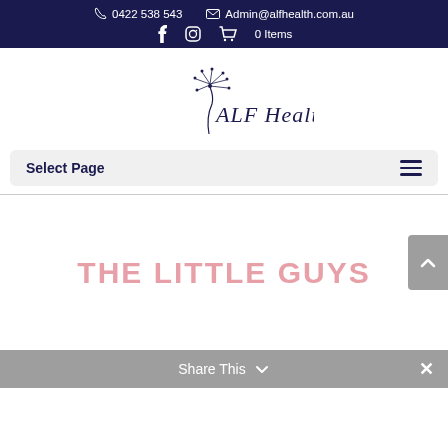0422 538 543  Admin@alfhealth.com.au
[Figure (logo): ALF Health logo with dandelion illustration and cursive text 'ALF Health']
Select Page
THE LITTLE GUYS
Share This